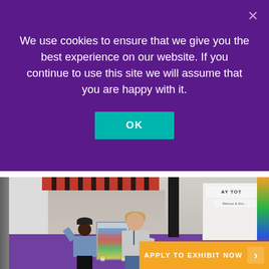We use cookies to ensure that we give you the best experience on our website. If you continue to use this site we will assume that you are happy with it.
OK
[Figure (photo): Trade show floor photo showing two people in matching branded t-shirts walking through an exhibition hall aisle with a shopping cart full of products. The floor is purple, there is a red LEGO branded overhead sign, and various vendor booths visible including Melissa and Doug on the right.]
APPLY TO EXHIBIT NOW